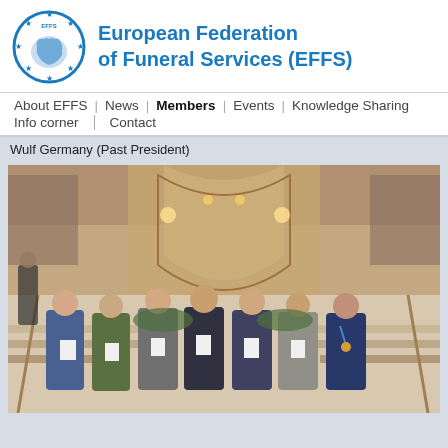[Figure (logo): EFFS circular logo with stars and Europe map]
European Federation of Funeral Services (EFFS)
About EFFS | News | Members | Events | Knowledge Sharing | Info corner | Contact
Wulf Germany (Past President)
[Figure (photo): Group of seven people standing in front of an ornate chapel/funeral hall altar, holding white documents, dressed formally.]